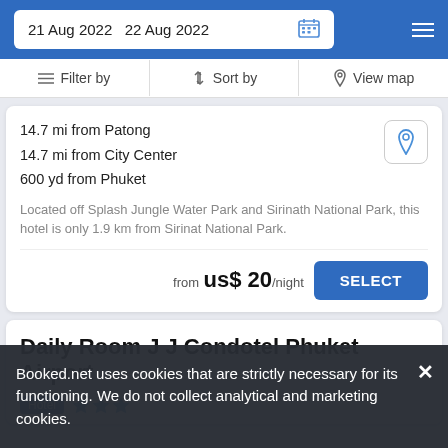21 Aug 2022  22 Aug 2022
Filter by  |  Sort by  |  View map
14.7 mi from Patong
14.7 mi from City Center
600 yd from Phuket
Located off Splash Jungle Water Park and Sirinath National Park, this hotel is only 1.9 km from Sirinat National Park.
from  us$ 20/night
Daily Room J J Condotel Phuket Airport
Hotel  ★★★
Booked.net uses cookies that are strictly necessary for its functioning. We do not collect analytical and marketing cookies.